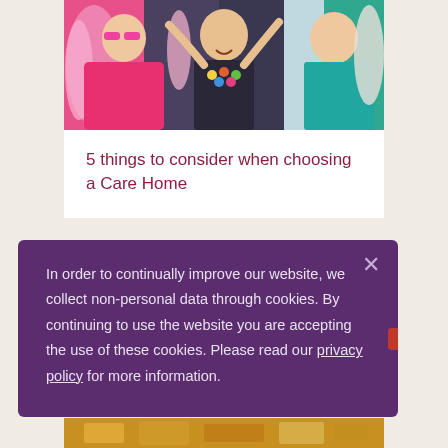[Figure (photo): Photo of elderly women celebrating with colorful outfits, feather boas, flower leis, and pink sunglasses, laughing and having fun]
5 things to consider when choosing a Care Home
In order to continually improve our website, we collect non-personal data through cookies. By continuing to use the website you are accepting the use of these cookies. Please read our privacy policy for more information.
[Figure (photo): Bottom strip of a golden/ornate photo partially visible]